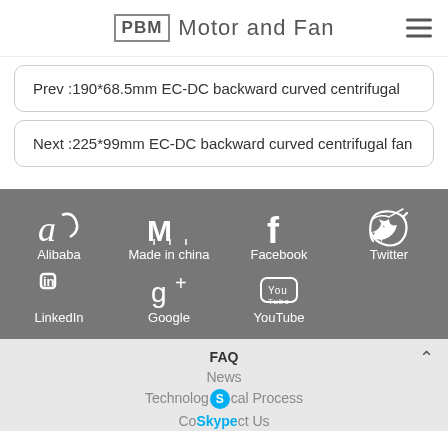PBM Motor and Fan
Prev :190*68.5mm EC-DC backward curved centrifugal
Next :225*99mm EC-DC backward curved centrifugal fan
Alibaba | Made in china | Facebook | Twitter | LinkedIn | Google | YouTube | FAQ | News | Technological Process | Contact Us | Skype
FAQ
News
Technological Process
Contact Us
Skype